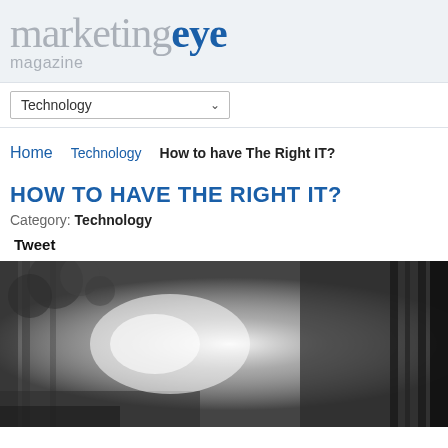marketingeye magazine
Technology (dropdown)
Home  Technology  How to have The Right IT?
HOW TO HAVE THE RIGHT IT?
Category: Technology
Tweet
[Figure (photo): Black and white photo of a person in a backpack/harness outdoors among trees with bright light in background]